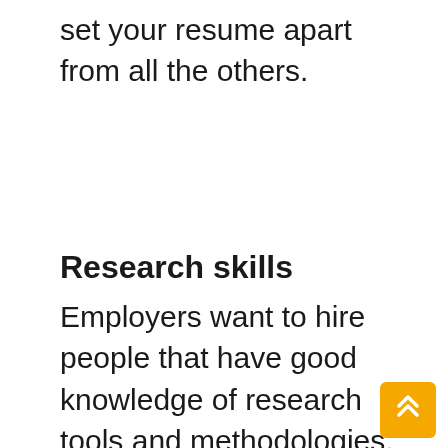set your resume apart from all the others.
Research skills
Employers want to hire people that have good knowledge of research tools and methodologies. The hard skills list must include scheduling, interviewing, analyzing, planning, and interpreting data. These skills help allow stakeholders to find